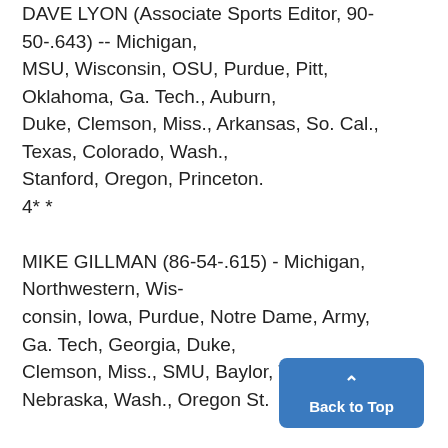DAVE LYON (Associate Sports Editor, 90-50-.643) -- Michigan, MSU, Wisconsin, OSU, Purdue, Pitt, Oklahoma, Ga. Tech., Auburn, Duke, Clemson, Miss., Arkansas, So. Cal., Texas, Colorado, Wash., Stanford, Oregon, Princeton.
4* *
MIKE GILLMAN (86-54-.615) - Michigan, Northwestern, Wisconsin, Iowa, Purdue, Notre Dame, Army, Ga. Tech, Georgia, Duke, Clemson, Miss., SMU, Baylor, Te Nebraska, Wash., Oregon St.